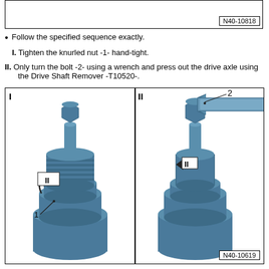[Figure (schematic): Top image box with reference number N40-10818, partially visible diagram above]
Follow the specified sequence exactly.
I. Tighten the knurled nut -1- hand-tight.
II. Only turn the bolt -2- using a wrench and press out the drive axle using the Drive Shaft Remover -T10520-.
[Figure (engineering-diagram): Two-panel diagram showing drive shaft removal tool. Panel I shows the tool with knurled nut labeled 1 being hand-tightened (rotation arrows). Panel II shows a wrench on bolt labeled 2 pressing out the drive axle with arrows indicating direction. Reference number N40-10619.]